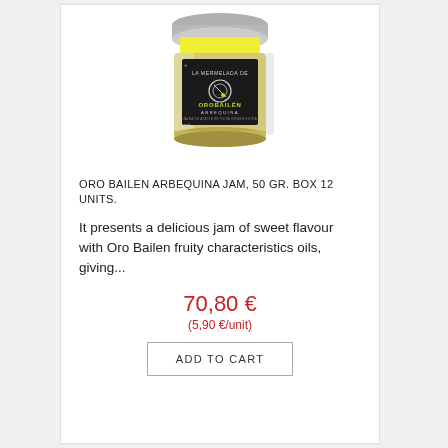[Figure (photo): Glass jar of Oro Bailen Arbequina olive oil jam with black label and yellow lid, labeled 'LA MERMELADA DE OROBAILÉN ARBEQUINA JALEA DE ACEITE DE OLIVA VIRGEN EXTRA', 150g]
ORO BAILEN ARBEQUINA JAM, 50 GR. BOX 12 UNITS.
It presents a delicious jam of sweet flavour with Oro Bailen fruity characteristics oils, giving...
70,80 €
(5,90 €/unit)
ADD TO CART